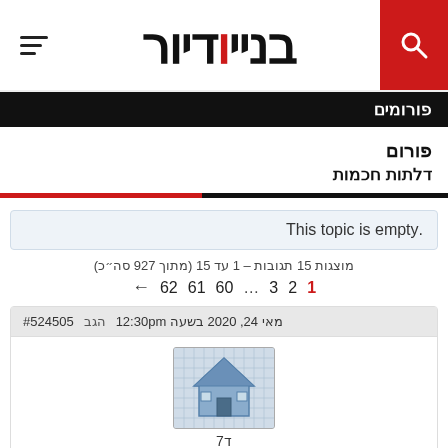בניינדיור
פורומים
פורום
דלתות חכמות
This topic is empty.
מוצגות 15 תגובות – 1 עד 15 (מתוך 927 סה״כ)
← 62 61 60 … 3 2 1
מאי 24, 2020 בשעה 12:30pm  הגב  #524505
[Figure (photo): House blueprint/model avatar image]